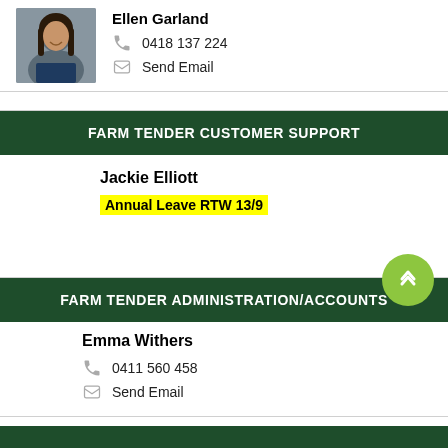[Figure (photo): Headshot of Ellen Garland, a woman with long dark hair wearing a dark blue uniform]
Ellen Garland
0418 137 224
Send Email
FARM TENDER CUSTOMER SUPPORT
Jackie Elliott
Annual Leave RTW 13/9
FARM TENDER ADMINISTRATION/ACCOUNTS
Emma Withers
0411 560 458
Send Email